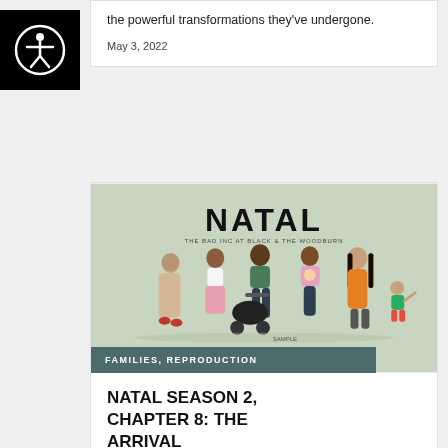[Figure (logo): Accessibility icon: black square with white circle showing a person with arms outstretched]
the powerful transformations they've undergone.
May 3, 2022
[Figure (illustration): Illustration of diverse group of adults and a child with a stroller under the NATAL heading. Subtitle reads: THE BAD INC AT BLACK & THE WOODBURN. Below the image is a teal banner reading FAMILIES, REPRODUCTION.]
NATAL SEASON 2, CHAPTER 8: THE ARRIVAL